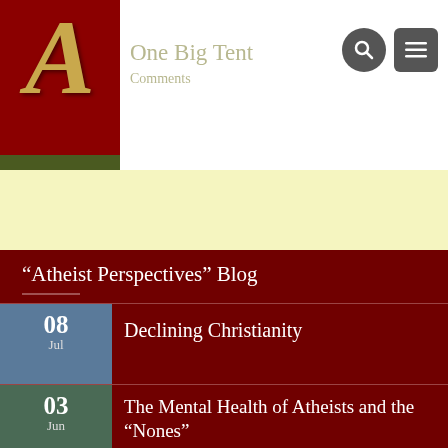One Big Tent
Comments
“Atheist Perspectives” Blog
08 Jul – Declining Christianity
03 Jun – The Mental Health of Atheists and the “Nones”
19 Mar – Godless good for your Health?